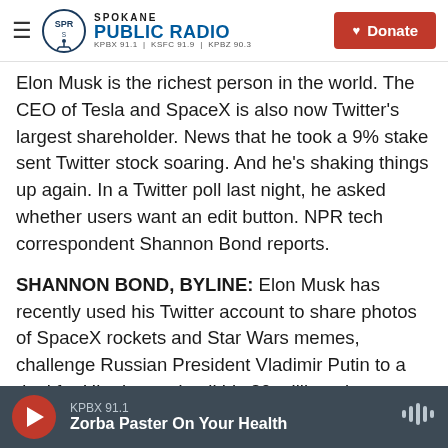Spokane Public Radio — KPBX 91.1 | KSFC 91.9 | KPBZ 90.3 | Donate
Elon Musk is the richest person in the world. The CEO of Tesla and SpaceX is also now Twitter's largest shareholder. News that he took a 9% stake sent Twitter stock soaring. And he's shaking things up again. In a Twitter poll last night, he asked whether users want an edit button. NPR tech correspondent Shannon Bond reports.
SHANNON BOND, BYLINE: Elon Musk has recently used his Twitter account to share photos of SpaceX rockets and Star Wars memes, challenge Russian President Vladimir Putin to a duel for Ukraine and poll his 80 million-plus followers about free speech.
KPBX 91.1 — Zorba Paster On Your Health